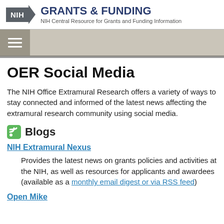NIH GRANTS & FUNDING — NIH Central Resource for Grants and Funding Information
[Figure (logo): NIH logo with arrow and Grants & Funding header text]
OER Social Media
The NIH Office Extramural Research offers a variety of ways to stay connected and informed of the latest news affecting the extramural research community using social media.
Blogs
NIH Extramural Nexus
Provides the latest news on grants policies and activities at the NIH, as well as resources for applicants and awardees (available as a monthly email digest or via RSS feed)
Open Mike